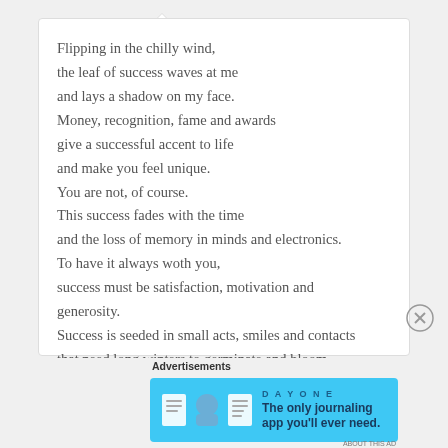Flipping in the chilly wind,
the leaf of success waves at me
and lays a shadow on my face.
Money, recognition, fame and awards
give a successful accent to life
and make you feel unique.
You are not, of course.
This success fades with the time
and the loss of memory in minds and electronics.
To have it always woth you,
success must be satisfaction, motivation and generosity.
Success is seeded in small acts, smiles and contacts
that need long winters to germinate and bloom.
Advertisements
[Figure (illustration): DAY ONE journaling app advertisement banner with blue background, app icons, and text 'The only journaling app you'll ever need.']